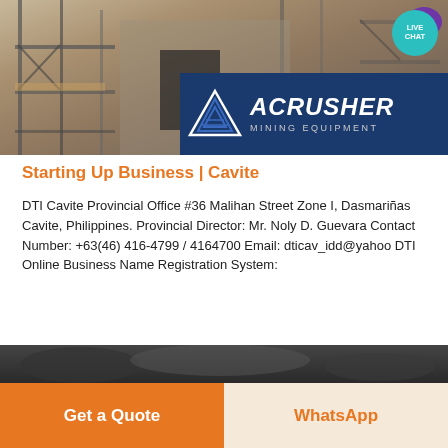[Figure (screenshot): Banner showing construction/mining site with scaffolding and the ACRUSHER Mining Equipment logo overlay. A 'LIVE CHAT' badge appears in the top right corner.]
Starting Up Business | Cavite
DTI Cavite Provincial Office #36 Malihan Street Zone I, Dasmariñas Cavite, Philippines. Provincial Director: Mr. Noly D. Guevara Contact Number: +63(46) 416-4799 / 4164700 Email: dticav_idd@yahoo DTI Online Business Name Registration System:
Learn More →
[Figure (photo): Partial photo of a dark-colored mining or construction scene at the bottom of the page.]
Get a Quote
WhatsApp